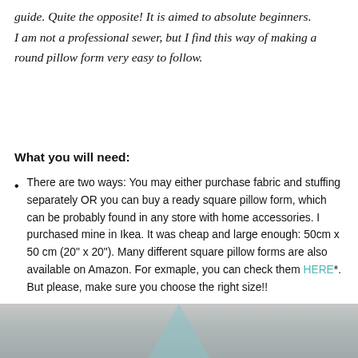guide. Quite the opposite! It is aimed to absolute beginners. I am not a professional sewer, but I find this way of making a round pillow form very easy to follow.
What you will need:
There are two ways: You may either purchase fabric and stuffing separately OR you can buy a ready square pillow form, which can be probably found in any store with home accessories. I purchased mine in Ikea. It was cheap and large enough: 50cm x 50 cm (20” x 20”). Many different square pillow forms are also available on Amazon. For exmaple, you can check them HERE*. But please, make sure you choose the right size!!
[Figure (photo): Partial view of fabric or pillow material, light gray and teal/blue tones, bottom strip of page]